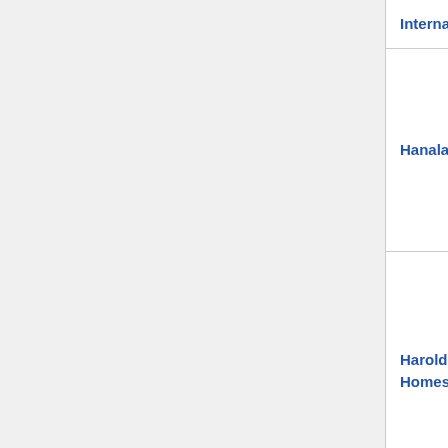| Name | Type | Description |
| --- | --- | --- |
| International |  | 20... |
| Hanalala | magazine | Ha
Ha
wa
Ko
In
(vo
20. |
| Harold L. Ickes Homes | public housing | Ha
pu
the
be
25
in
Ho
20. |
| Head Entertainment | business | He
Un
wh
bu |